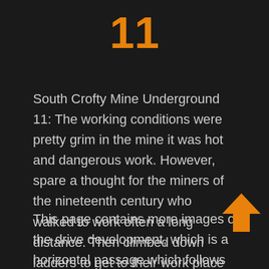11
South Crofty Mine Underground 11: The working conditions were pretty grim in the mine it was hot and dangerous work. However, spare a thought for the miners of the nineteenth century who walked to work often a long distance. Then climbed down ladders to get to their work place in the mine with only the light of a candle to guide them.
This page contains more images of the drive development, which is a horizontal passage which follows the line of the lode. Holes were drilled then charged with explosives to advance the passage.
[Figure (illustration): Orange upward-pointing arrow icon in the bottom-right area of the page]